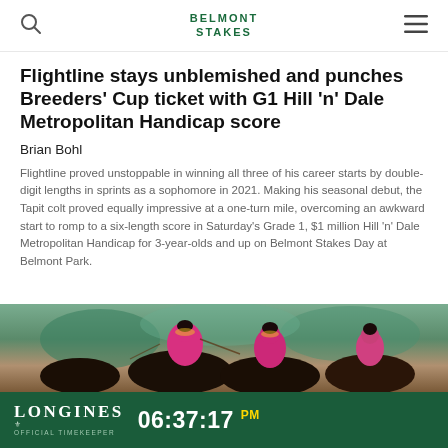BELMONT STAKES
Flightline stays unblemished and punches Breeders' Cup ticket with G1 Hill 'n' Dale Metropolitan Handicap score
Brian Bohl
Flightline proved unstoppable in winning all three of his career starts by double-digit lengths in sprints as a sophomore in 2021. Making his seasonal debut, the Tapit colt proved equally impressive at a one-turn mile, overcoming an awkward start to romp to a six-length score in Saturday's Grade 1, $1 million Hill 'n' Dale Metropolitan Handicap for 3-year-olds and up on Belmont Stakes Day at Belmont Park.
[Figure (photo): Photo of jockeys racing horses, jockeys wearing pink and yellow silks]
LONGINES OFFICIAL TIMEKEEPER 06:37:17 PM